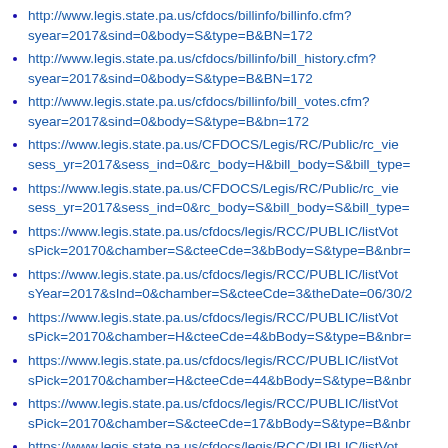http://www.legis.state.pa.us/cfdocs/billinfo/billinfo.cfm?syear=2017&sind=0&body=S&type=B&BN=172
http://www.legis.state.pa.us/cfdocs/billinfo/bill_history.cfm?syear=2017&sind=0&body=S&type=B&BN=172
http://www.legis.state.pa.us/cfdocs/billinfo/bill_votes.cfm?syear=2017&sind=0&body=S&type=B&bn=172
https://www.legis.state.pa.us/CFDOCS/Legis/RC/Public/rc_vie sess_yr=2017&sess_ind=0&rc_body=H&bill_body=S&bill_type=
https://www.legis.state.pa.us/CFDOCS/Legis/RC/Public/rc_vie sess_yr=2017&sess_ind=0&rc_body=S&bill_body=S&bill_type=
https://www.legis.state.pa.us/cfdocs/legis/RCC/PUBLIC/listVot sPick=20170&chamber=S&cteeCde=3&bBody=S&type=B&nbr=
https://www.legis.state.pa.us/cfdocs/legis/RCC/PUBLIC/listVot sYear=2017&sInd=0&chamber=S&cteeCde=3&theDate=06/30/2
https://www.legis.state.pa.us/cfdocs/legis/RCC/PUBLIC/listVot sPick=20170&chamber=H&cteeCde=4&bBody=S&type=B&nbr=
https://www.legis.state.pa.us/cfdocs/legis/RCC/PUBLIC/listVot sPick=20170&chamber=H&cteeCde=44&bBody=S&type=B&nbr
https://www.legis.state.pa.us/cfdocs/legis/RCC/PUBLIC/listVot sPick=20170&chamber=S&cteeCde=17&bBody=S&type=B&nbr
https://www.legis.state.pa.us/cfdocs/legis/RCC/PUBLIC/listVot sYear=2017&sInd=0&chamber=S&cteeCde=17&theDate=10/01/
https://www.legis.state.pa.us/cfdocs/legis/RCC/PUBLIC/listVo